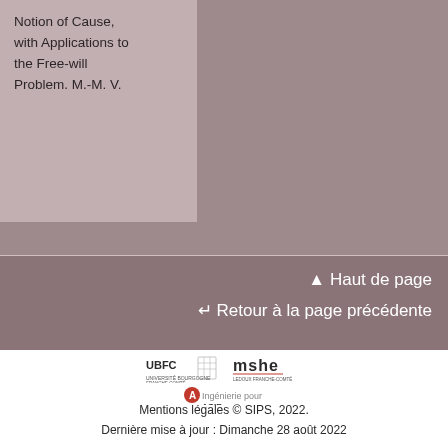Notion of Cause, with Applications to the Free-will Problem. M.-M. V.
↑ Haut de page
↵ Retour à la page précédente
[Figure (logo): UBFC logo, mshe logo, and AGIR logo in white footer area]
Mentions légales © SIPS, 2022.
Dernière mise à jour : Dimanche 28 août 2022